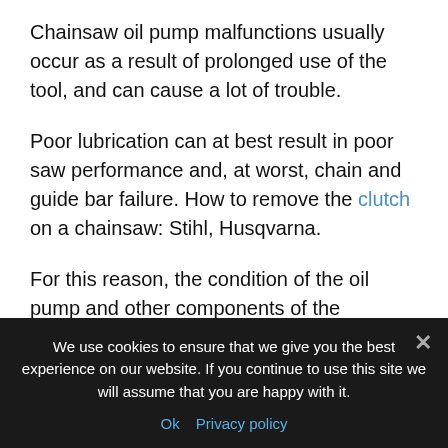Chainsaw oil pump malfunctions usually occur as a result of prolonged use of the tool, and can cause a lot of trouble.
Poor lubrication can at best result in poor saw performance and, at worst, chain and guide bar failure. How to remove the clutch on a chainsaw: Stihl, Husqvarna.
For this reason, the condition of the oil pump and other components of the lubrication system should be regularly checked, and if any faults are found, they should be repaired.
We use cookies to ensure that we give you the best experience on our website. If you continue to use this site we will assume that you are happy with it.
Ok  Privacy policy